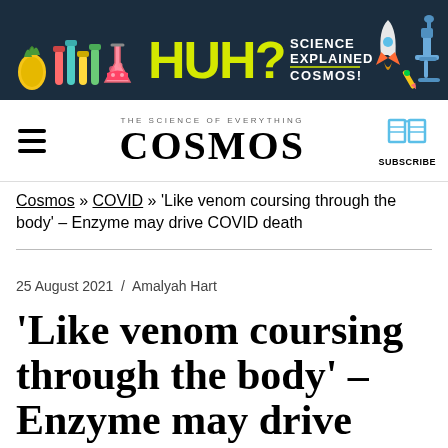[Figure (illustration): HUH? Science Explained - COSMOS banner ad with colorful science icons (pineapple, test tubes, flask, microscope, rocket) on dark navy background]
THE SCIENCE OF EVERYTHING | COSMOS | SUBSCRIBE
Cosmos » COVID » 'Like venom coursing through the body' – Enzyme may drive COVID death
25 August 2021  /  Amalyah Hart
'Like venom coursing through the body' – Enzyme may drive COVID